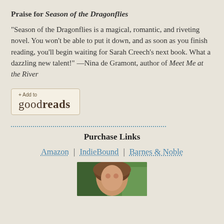Praise for Season of the Dragonflies
“Season of the Dragonflies is a magical, romantic, and riveting novel. You won’t be able to put it down, and as soon as you finish reading, you’ll begin waiting for Sarah Creech’s next book. What a dazzling new talent!” —Nina de Gramont, author of Meet Me at the River
[Figure (logo): + Add to goodreads button]
Purchase Links
Amazon | IndieBound | Barnes & Noble
[Figure (photo): Author headshot photo, partially visible, person with brown hair against green background]